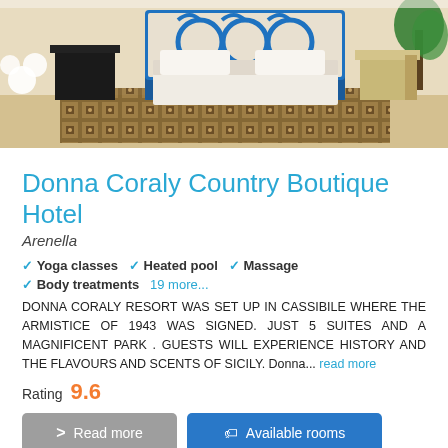[Figure (photo): Hotel room interior showing an ornate blue metal bed frame with scrollwork, white bedding, colorful tiled floor rug, and a plant in the corner]
Donna Coraly Country Boutique Hotel
Arenella
Yoga classes  Heated pool  Massage
Body treatments  19 more...
DONNA CORALY RESORT WAS SET UP IN CASSIBILE WHERE THE ARMISTICE OF 1943 WAS SIGNED. JUST 5 SUITES AND A MAGNIFICENT PARK . GUESTS WILL EXPERIENCE HISTORY AND THE FLAVOURS AND SCENTS OF SICILY. Donna... read more
Rating  9.6